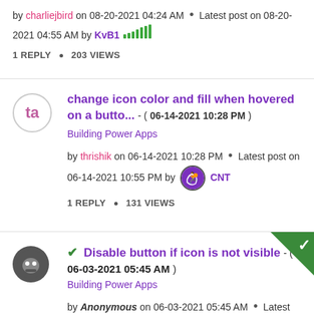by charliejbird on 08-20-2021 04:24 AM · Latest post on 08-20-2021 04:55 AM by KvB1
1 REPLY · 203 VIEWS
change icon color and fill when hovered on a butto... - ( 06-14-2021 10:28 PM )
Building Power Apps
by thrishik on 06-14-2021 10:28 PM · Latest post on 06-14-2021 10:55 PM by CNT
1 REPLY · 131 VIEWS
Disable button if icon is not visible - ( 06-03-2021 05:45 AM )
Building Power Apps
by Anonymous on 06-03-2021 05:45 AM · Latest